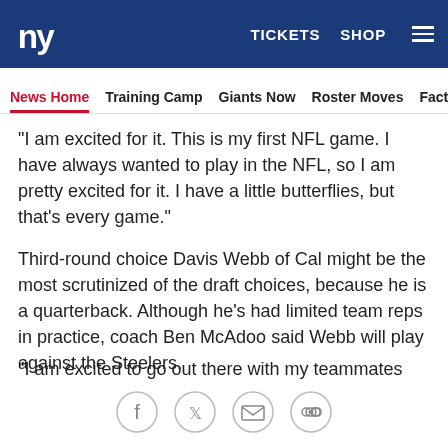NY Giants | TICKETS  SHOP  ☰
News Home  Training Camp  Giants Now  Roster Moves  Fact o
"I am excited for it. This is my first NFL game. I have always wanted to play in the NFL, so I am pretty excited for it. I have a little butterflies, but that's every game."
Third-round choice Davis Webb of Cal might be the most scrutinized of the draft choices, because he is a quarterback. Although he's had limited team reps in practice, coach Ben McAdoo said Webb will play against the Steelers.
"I am excited to go out there with my teammates first of all and play my first NFL game," Webb said. "I feel like I am prepared. I have been studying all week preparing
[Figure (other): Social sharing icons: Facebook, Twitter, Email, Link]